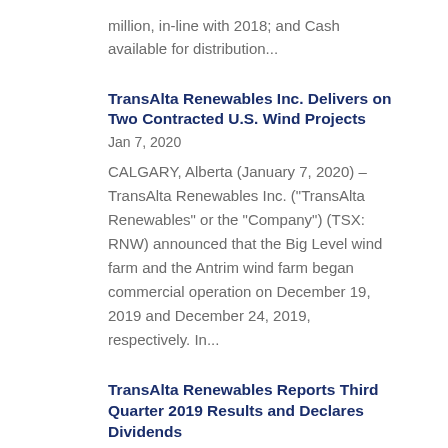million, in-line with 2018; and Cash available for distribution...
TransAlta Renewables Inc. Delivers on Two Contracted U.S. Wind Projects
Jan 7, 2020
CALGARY, Alberta (January 7, 2020) – TransAlta Renewables Inc. ("TransAlta Renewables" or the "Company") (TSX: RNW) announced that the Big Level wind farm and the Antrim wind farm began commercial operation on December 19, 2019 and December 24, 2019, respectively.  In...
TransAlta Renewables Reports Third Quarter 2019 Results and Declares Dividends
Nov 6, 2019
CALGARY, Alberta (November 6, 2019) Third Quarter 2019 Financial Highlights Comparable EBITDA of $86